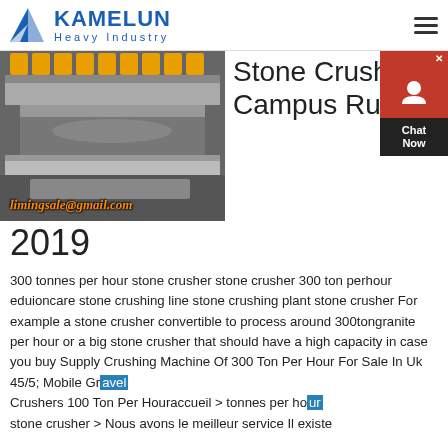KAMELUN Heavy Industry
[Figure (photo): Stone crusher machine in industrial setting with email overlay: limingsale@gmail.com]
Stone Crusher Campus Rugby 2019
300 tonnes per hour stone crusher stone crusher 300 ton perhour eduioncare stone crushing line stone crushing plant stone crusher For example a stone crusher convertible to process around 300tongranite per hour or a big stone crusher that should have a high capacity in case you buy Supply Crushing Machine Of 300 Ton Per Hour For Sale In Uk 45/5; Mobile Gravel Crushers 100 Ton Per Houraccueil > tonnes per hour stone crusher > Nous avons le meilleur service Il existe